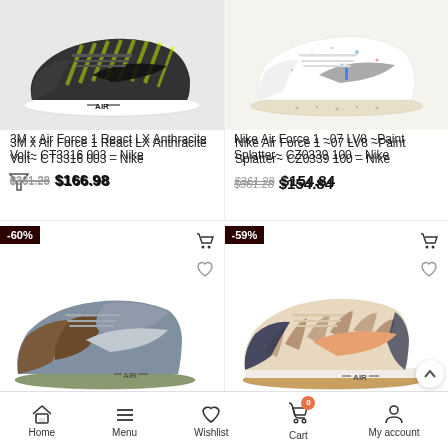[Figure (photo): Nike 3M x Air Force 1 React LX Anthracite Volt sneaker, dark gray with yellow chevron pattern]
[Figure (photo): Nike Air Force 1 '07 LV8 Paint Splatter white sneaker with speckled sole and blue paint accents]
3M x Air Force 1 React LX Anthracite Volt~ CT3316 003 – Nike
$361.28 $166.98
Nike Air Force 1 ~07 LV8 ~Paint Splatter~ CZ0339 100 – Nike
$361.28 $154.84
-60%
[Figure (photo): Nike Air Force 1 gray/brown suede patchwork sneaker]
-59%
[Figure (photo): Nike Air Force 1 beige/pink/brown striped tiger print sneaker]
Home  Menu  Wishlist  Cart  My account